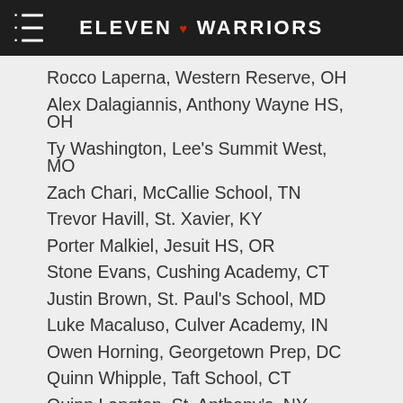ELEVEN ♥ WARRIORS
Rocco Laperna, Western Reserve, OH
Alex Dalagiannis, Anthony Wayne HS, OH
Ty Washington, Lee's Summit West, MO
Zach Chari, McCallie School, TN
Trevor Havill, St. Xavier, KY
Porter Malkiel, Jesuit HS, OR
Stone Evans, Cushing Academy, CT
Justin Brown, St. Paul's School, MD
Luke Macaluso, Culver Academy, IN
Owen Horning, Georgetown Prep, DC
Quinn Whipple, Taft School, CT
Quinn Langton, St. Anthony's, NY